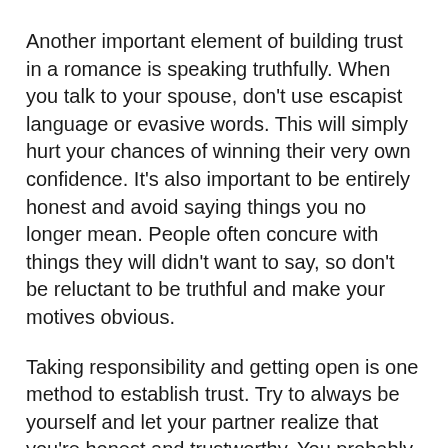Another important element of building trust in a romance is speaking truthfully. When you talk to your spouse, don't use escapist language or evasive words. This will simply hurt your chances of winning their very own confidence. It's also important to be entirely honest and avoid saying things you no longer mean. People often concure with things they will didn't want to say, so don't be reluctant to be truthful and make your motives obvious.
Taking responsibility and getting open is one method to establish trust. Try to always be yourself and let your partner realize that you're honest and trustworthy. You probably can indicate your openness and be vulnerable. When you're genuine with each other, you'll be able to help them in lots of ways. Moreover, need not afraid to admit when you are wrong, since it can make all the difference in the world.
You have to communicate efficiently and in all honesty with your partner. Be dependable in your interaction with your